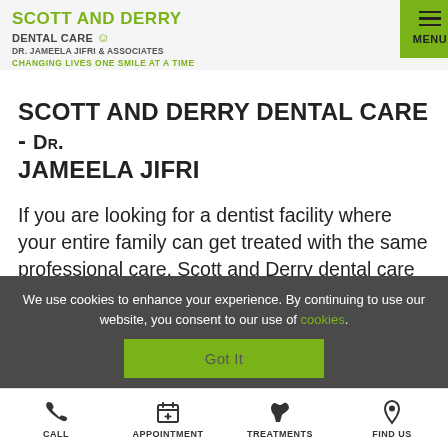SCOTT AND DERRY DENTAL CARE | DR. JAMEELA JIFRI & ASSOCIATES | CHANGING LIVES ONE SMILE AT A TIME | MENU
SCOTT AND DERRY DENTAL CARE - DR. JAMEELA JIFRI
If you are looking for a dentist facility where your entire family can get treated with the same professional care, Scott and Derry dental care is the one for you. We provide a comfortable
We use cookies to enhance your experience. By continuing to use our website, you consent to our use of cookies.
Got It
CALL | APPOINTMENT | TREATMENTS | FIND US